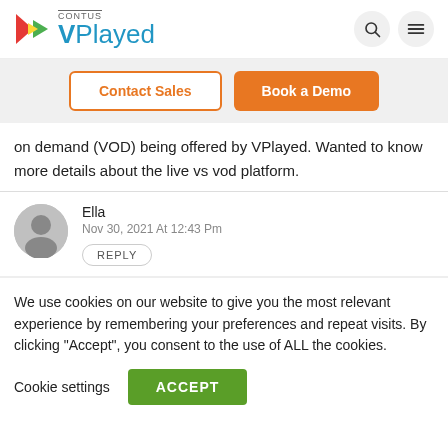CONTUS VPlayed
Contact Sales | Book a Demo
on demand (VOD) being offered by VPlayed. Wanted to know more details about the live vs vod platform.
Ella
Nov 30, 2021 At 12:43 Pm
REPLY
We use cookies on our website to give you the most relevant experience by remembering your preferences and repeat visits. By clicking "Accept", you consent to the use of ALL the cookies.
Cookie settings ACCEPT